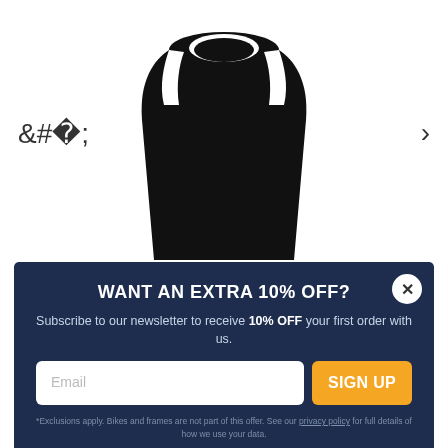[Figure (photo): Black sleeveless fitness vest / muscle tank top on white background, partially cropped showing lower portion of garment]
More Mile Muscle Mens Fitness Vest - Black
★★★★★ (6 Reviews)
[Figure (screenshot): Modal popup overlay with dark navy background prompting newsletter signup for 10% off]
WANT AN EXTRA 10% OFF?
Subscribe to our newsletter to receive 10% OFF your first order with us.
Email [input field] SIGN UP [button]
*Exclusions apply. Bikes and frames are not part of this offer. See our privacy policy for full details of how we use your data.